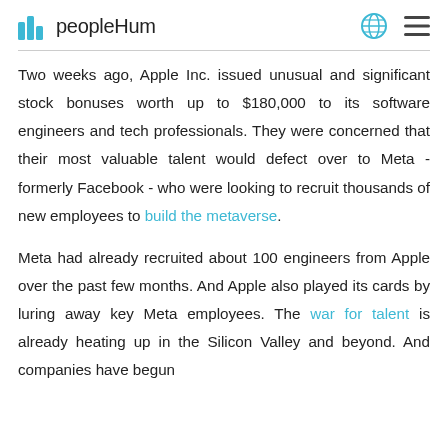peopleHum
Two weeks ago, Apple Inc. issued unusual and significant stock bonuses worth up to $180,000 to its software engineers and tech professionals. They were concerned that their most valuable talent would defect over to Meta - formerly Facebook - who were looking to recruit thousands of new employees to build the metaverse.
Meta had already recruited about 100 engineers from Apple over the past few months. And Apple also played its cards by luring away key Meta employees. The war for talent is already heating up in the Silicon Valley and beyond. And companies have begun